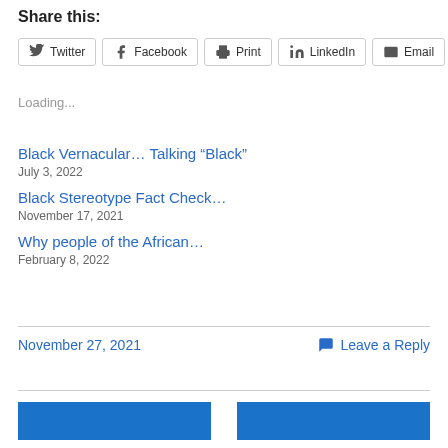Share this:
Twitter
Facebook
Print
LinkedIn
Email
Loading...
Black Vernacular… Talking “Black”
July 3, 2022
Black Stereotype Fact Check…
November 17, 2021
Why people of the African…
February 8, 2022
November 27, 2021
Leave a Reply